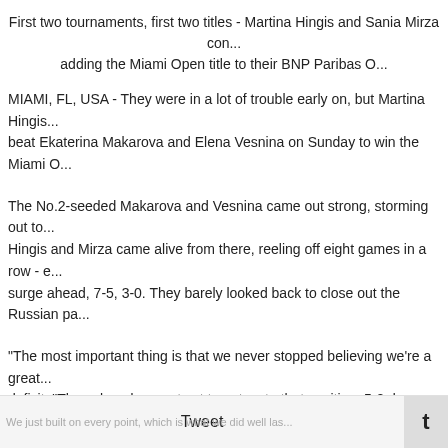First two tournaments, first two titles - Martina Hingis and Sania Mirza con... adding the Miami Open title to their BNP Paribas O...
MIAMI, FL, USA - They were in a lot of trouble early on, but Martina Hingis... beat Ekaterina Makarova and Elena Vesnina on Sunday to win the Miami O...
The No.2-seeded Makarova and Vesnina came out strong, storming out to... Hingis and Mirza came alive from there, reeling off eight games in a row - ... surge ahead, 7-5, 3-0. They barely looked back to close out the Russian pa...
"The most important thing is that we never stopped believing we're a great... deficit. "They played a great set to get us to that position, 5-2 down. Then v... get our chances. We just built on every point, which is what we did well las...
The Swiss-Indian duo talked about how an on-court coaching visit helped t...
"Today the coaching really turned it around - your dad came on court," Hing...
Tweet   t